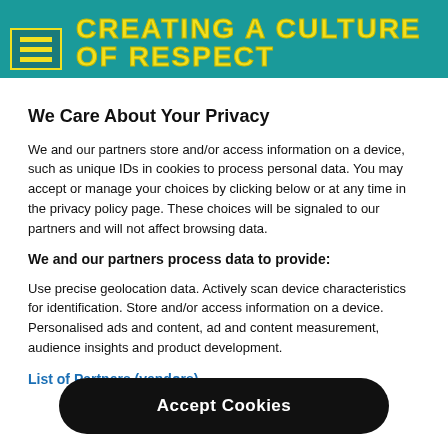CREATING A CULTURE OF RESPECT
We Care About Your Privacy
We and our partners store and/or access information on a device, such as unique IDs in cookies to process personal data. You may accept or manage your choices by clicking below or at any time in the privacy policy page. These choices will be signaled to our partners and will not affect browsing data.
We and our partners process data to provide:
Use precise geolocation data. Actively scan device characteristics for identification. Store and/or access information on a device. Personalised ads and content, ad and content measurement, audience insights and product development.
List of Partners (vendors)
Accept Cookies